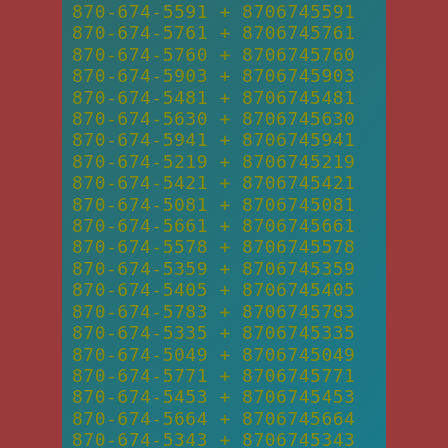870-674-5591 + 8706745591
870-674-5761 + 8706745761
870-674-5760 + 8706745760
870-674-5903 + 8706745903
870-674-5481 + 8706745481
870-674-5630 + 8706745630
870-674-5941 + 8706745941
870-674-5219 + 8706745219
870-674-5421 + 8706745421
870-674-5081 + 8706745081
870-674-5661 + 8706745661
870-674-5578 + 8706745578
870-674-5359 + 8706745359
870-674-5405 + 8706745405
870-674-5783 + 8706745783
870-674-5335 + 8706745335
870-674-5049 + 8706745049
870-674-5771 + 8706745771
870-674-5453 + 8706745453
870-674-5664 + 8706745664
870-674-5343 + 8706745343
870-674-5461 + 8706745461
870-674-5410 + 8706745410